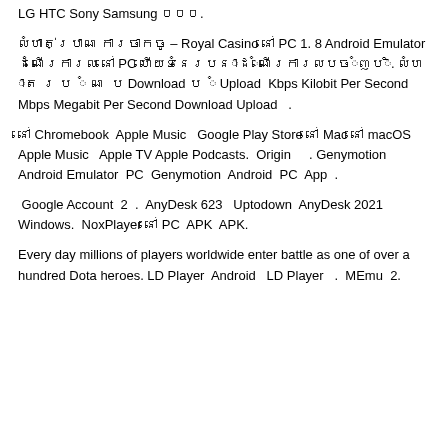LG HTC Sony Samsung ០០០.
លំហាត់ប្រាណ ការ​ចាក​ចូ​ – Royal Casino នៅ PC 1. 8 Android Emulator ដំ​ណើ​រ​ការ​ល្អ​នៅ PC ហើយ​ទំ​នេ​រ​ប​ន​ា​ដ​ំ​ណើ​រ​ការ​ល​ប​ច​ំ​ញ​ប​ិ. ល​ំ​ហ​ា​ត​ រ​ ប​ ំ​ ណ​ ​ ប Download ប​ ំ ​ ​ ​ ​ ​ ​ Upload ប​ ​ ​ ​ ​ ​ ​ ​ ​ ​ ​ ​ ​ ​ ​ ​ ​ ​ ​ Kbps Kilobit Per Second Mbps Megabit Per Second ​ ​ ​ ​ ​ ​ ​ ​ ​ ​ ​ ​ ​ ​ ​ ​ ​ ​ ​ ​ ​ ​ ​ ​ ​ ​ Download ​ ​ ​ ​ ​ Upload ​ ​ ​ ​ ​ ​ ​ ​ ​ ​ ​ ​ ​ ​ ​ ​ ​ ​ ​ ​ ​ ​ ​ ​ ​ ​ ​ ​ ​ ​ ​ ​ ​ ​ ​ ​ ​ ​ ​ ​ ​ ​ ​ ​ ​ ​ ​ ​ ​ ​ ​ ​ ​ ​ ​ ​ ​ ​ ​ ​.
នៅ Chromebook ​ ​ ​ ​ ​ ​ ​ ​ ​ ​ ​ ​ ​ ​ ​ ​ ​ ​ ​ ​ ​ ​ Apple Music ​ ​ ​ Google Play Store នៅ Mac នៅ macOS ​ ​ ​ ​ ​ ​ ​ ​ ​ ​ ​ ​ ​ ​ ​ ​ ​ ​ ​ ​ ​ Apple Music ​ ​ ​ Apple TV Apple Podcasts. ​ ​ ​ ​ ​ ​ ​ ​ ​ ​ ​ ​ ​ ​ ​ ​ ​ ​ ​ ​ ​ ​ ​ ​ ​ ​ ​ ​ ​ ​ Origin ​ ​ ​ ​ ​ ​ ​ ​ ​ ​ ​ ​ ​ ​ ​ ​ ​ ​ ​ ​ ​ ​ ​ ​ ​ ​ ​ ​ ​ ​ ​ ​ ​ ​ ​ ​ ​ ​ ​ ​ ​ ​ ​ ​ ​ ​ ​ ​ ​ ​. Genymotion ​ ​ ​ ​ ​ ​ ​ Android Emulator ​ ​ ​ ​ ​ ​ ​ ​ ​ ​ ​ ​ ​ ​ ​ ​ PC ​ ​ ​ ​ ​ ​ ​ ​ ​ ​ ​ ​ ​ ​ Genymotion ​ ​ ​ ​ ​ ​ ​ ​ ​ ​ ​ ​ ​ ​ Android ​ ​ ​ ​ ​ ​ ​ PC ​ ​ ​ ​ ​ ​ ​ ​ ​ ​ ​ ​ ​ ​ ​ ​ ​ ​ ​ ​ ​ ​ ​ ​ ​ ​ ​ ​ ​ ​ ​ ​ ​ ​ ​ ​ ​ ​ ​ ​ ​ ​ ​ ​ ​ ​ ​ ​ ​ ​ ​ ​ ​ App ​ ​ ​ ​ ​ ​ ​ ​ ​ ​ ​ ​ ​ ​ ​.
​ ​ ​ ​ ​ ​ ​ ​ Google Account ​ ​ ​ ​ ​ ​ ​ ​ ​ ​ ​ ​ ​ ​ ​ ​ 2 ​ ​ ​ ​ ​ ​ ​ ​ ​ ​. ​ ​ ​ ​ ​ ​ ​ AnyDesk 623 ​ ​ ​ ​ ​ Uptodown ​ ​ ​ ​ ​ ​ ​ ​ ​ ​ ​ ​ ​ ​ ​ ​ ​ ​ ​ ​ ​ ​ ​ ​ ​ ​ ​ ​ ​ AnyDesk 2021 ​ ​ ​ ​ ​ Windows. ​ ​ ​ ​ ​ ​ ​ ​ ​ ​ ​ ​ ​ ​ NoxPlayer នៅ PC ​ ​ ​ ​ ​ ​ ​ ​ ​ ​ APK ​ ​ ​ ​ ​ ​ ​ ​ APK.
Every day millions of players worldwide enter battle as one of over a hundred Dota heroes. LD Player ​ ​ ​ ​ ​ ​ ​ ​ ​ ​ ​ ​ ​ ​ ​ ​ ​ Android ​ ​ ​ ​ ​ ​ ​ ​ ​ ​ ​ ​ ​ ​ ​ ​ ​ ​ ​ ​ ​ ​ ​ ​ ​ ​ ​ ​ ​ ​ ​ ​ ​ LD Player ​ ​ ​ ​ ​ ​ ​ ​ ​ ​ ​ ​ ​ ​ ​ ​ ​ ​ ​ ​ ​ ​ ​ ​ ​ ​ ​ ​ ​ ​ ​. ​ ​ ​ ​ ​ ​ ​ ​ MEmu ​ ​ ​ ​ ​ ​ ​ ​ ​ ​ ​ ​ ​ ​ ​ ​ 2.